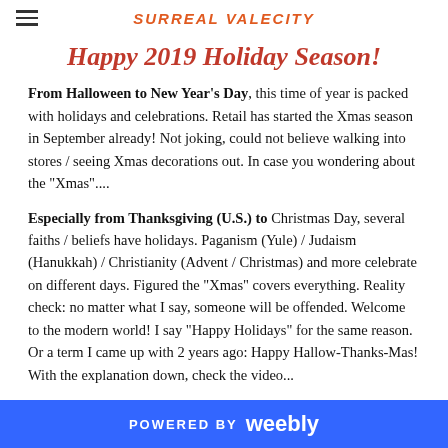SURREAL VALECITY
Happy 2019 Holiday Season!
From Halloween to New Year's Day, this time of year is packed with holidays and celebrations. Retail has started the Xmas season in September already! Not joking, could not believe walking into stores / seeing Xmas decorations out. In case you wondering about the "Xmas"....
Especially from Thanksgiving (U.S.) to Christmas Day, several faiths / beliefs have holidays. Paganism (Yule) / Judaism (Hanukkah) / Christianity (Advent / Christmas) and more celebrate on different days. Figured the "Xmas" covers everything. Reality check: no matter what I say, someone will be offended. Welcome to the modern world! I say "Happy Holidays" for the same reason. Or a term I came up with 2 years ago: Happy Hallow-Thanks-Mas! With the explanation down, check the video...
POWERED BY weebly